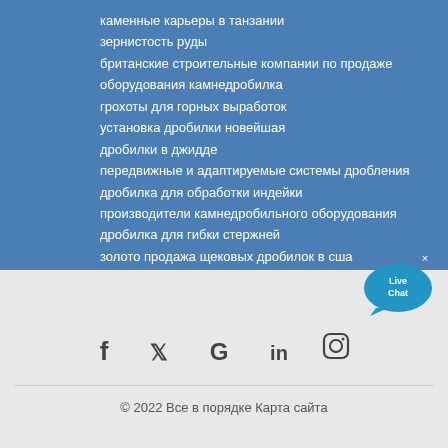каменные карьеры в танзании
зернистость руды
британские строительные компании по продаже оборудования камнедробилка
грохоты для горных выработок
установка дробилки новейшая
дробилки в джидде
передвижные и адаптируемые системы дробления
дробилка для обработки индейки
производители камнедробильного оборудования
дробилка для гибки стержней
золото продажа щековых дробилок в сша
[Figure (logo): Live Chat widget button with chat bubble icon]
[Figure (infographic): Social media icons: Facebook, Twitter, Google, LinkedIn, Instagram]
© 2022 Все в порядке Карта сайта